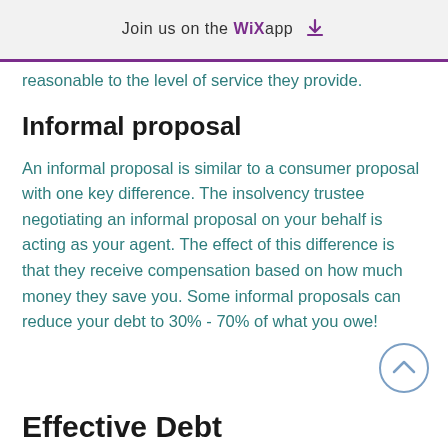Join us on the WiX app
reasonable to the level of service they provide.
Informal proposal
An informal proposal is similar to a consumer proposal with one key difference. The insolvency trustee negotiating an informal proposal on your behalf is acting as your agent. The effect of this difference is that they receive compensation based on how much money they save you. Some informal proposals can reduce your debt to 30% - 70% of what you owe!
Effective Debt